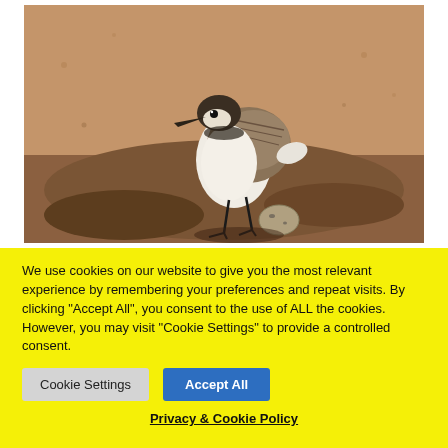[Figure (photo): Close-up photograph of a small shorebird (plover) standing on sandy/rocky ground near an egg. The bird has a white breast, brown/grey wings and back, a dark cap, and thin dark legs.]
We use cookies on our website to give you the most relevant experience by remembering your preferences and repeat visits. By clicking “Accept All”, you consent to the use of ALL the cookies. However, you may visit "Cookie Settings" to provide a controlled consent.
Cookie Settings
Accept All
Privacy & Cookie Policy